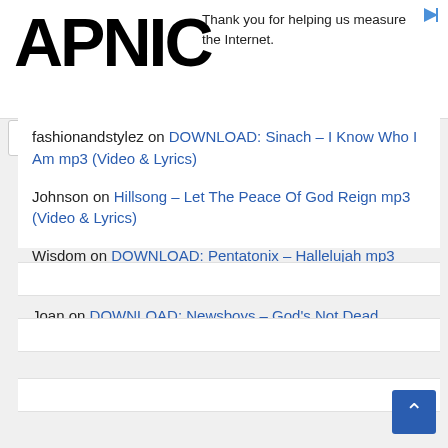[Figure (logo): APNIC logo in large bold black text]
Thank you for helping us measure the Internet.
fashionandstylez on DOWNLOAD: Sinach – I Know Who I Am mp3 (Video & Lyrics)
Johnson on Hillsong – Let The Peace Of God Reign mp3 (Video & Lyrics)
Wisdom on DOWNLOAD: Pentatonix – Hallelujah mp3 (Video & Lyrics)
Joan on DOWNLOAD: Newsboys – God's Not Dead mp3/mp4 (Video & Lyrics)